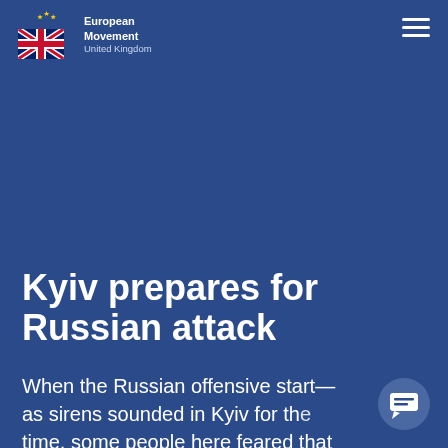European Movement United Kingdom
Kyiv prepares for Russian attack
When the Russian offensive start— as sirens sounded in Kyiv for the time, some people here feared that